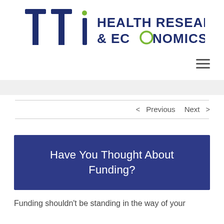[Figure (logo): TTi Health Research & Economics logo with stylized T, T, i letters and tagline text]
< Previous   Next >
Have You Thought About Funding?
Funding shouldn't be standing in the way of your